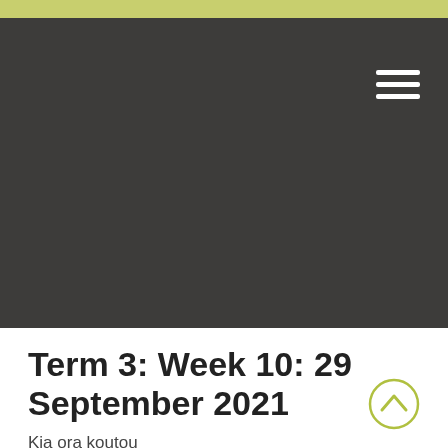[Figure (other): Yellow top bar decorative stripe]
[Figure (photo): Dark grey/charcoal header banner area with hamburger menu icon in top right]
Term 3: Week 10: 29 September 2021
Kia ora koutou